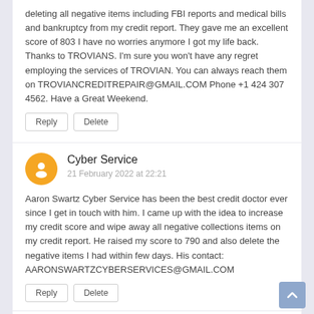deleting all negative items including FBI reports and medical bills and bankruptcy from my credit report. They gave me an excellent score of 803 I have no worries anymore I got my life back. Thanks to TROVIANS. I'm sure you won't have any regret employing the services of TROVIAN. You can always reach them on TROVIANCREDITREPAIR@GMAIL.COM Phone +1 424 307 4562. Have a Great Weekend.
Reply   Delete
Cyber Service
21 February 2022 at 22:21
Aaron Swartz Cyber Service has been the best credit doctor ever since I get in touch with him. I came up with the idea to increase my credit score and wipe away all negative collections items on my credit report. He raised my score to 790 and also delete the negative items I had within few days. His contact: AARONSWARTZCYBERSERVICES@GMAIL.COM
Reply   Delete